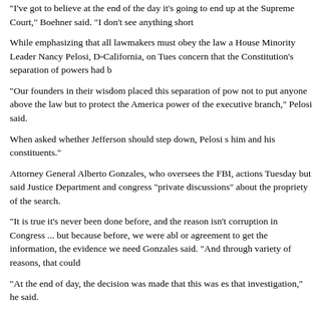"I've got to believe at the end of the day it's going to end up at the Supreme Court," Boehner said. "I don't see anything short
While emphasizing that all lawmakers must obey the law and House Minority Leader Nancy Pelosi, D-California, on Tuesday concern that the Constitution's separation of powers had b
"Our founders in their wisdom placed this separation of powers not to put anyone above the law but to protect the Americans power of the executive branch," Pelosi said.
When asked whether Jefferson should step down, Pelosi s him and his constituents."
Attorney General Alberto Gonzales, who oversees the FBI, actions Tuesday but said Justice Department and congress "private discussions" about the propriety of the search.
"It is true it's never been done before, and the reason isn't corruption in Congress ... but because before, we were able or agreement to get the information, the evidence we need Gonzales said. "And through variety of reasons, that could
"At the end of day, the decision was made that this was es that investigation," he said.
Jefferson vowed Monday to stay in Congress and fight alle and blasted an apparently unprecedented weekend search as an "outrageous intrusion into the separation of powers b branch and the congressional branch."
"I expect to continue to represent the people who have sen during a brief appearance before reporters.